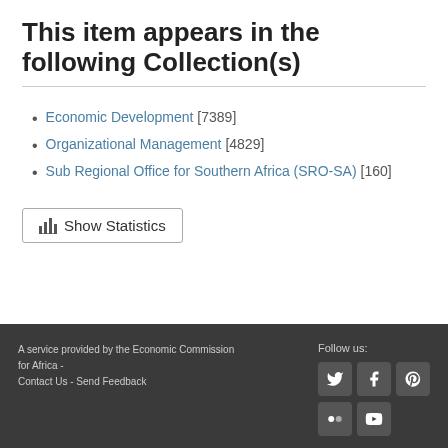This item appears in the following Collection(s)
Economic Development [7389]
Organizational Management [4829]
Sub Regional Office for Southern Africa (SRO-SA) [160]
Show Statistics
A service provided by the Economic Commission for Africa - Contact Us - Send Feedback  Follow us: